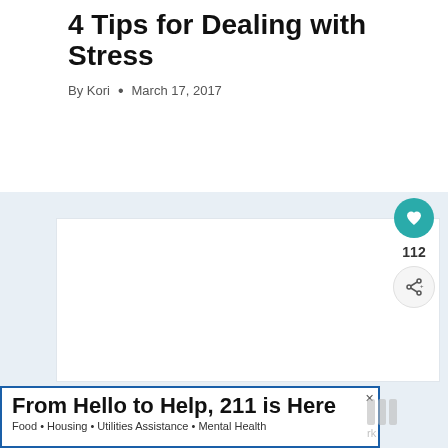4 Tips for Dealing with Stress
By Kori • March 17, 2017
[Figure (other): Large blank white image placeholder area]
112
From Hello to Help, 211 is Here
Food • Housing • Utilities Assistance • Mental Health